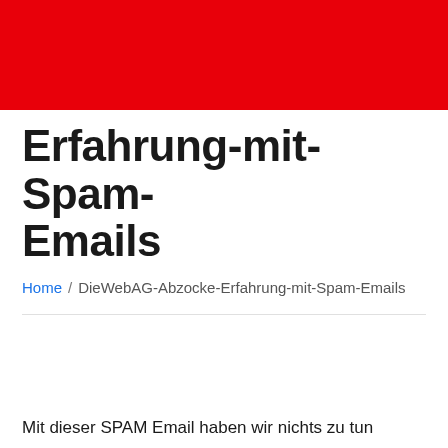Erfahrung-mit-Spam-Emails
Home / DieWebAG-Abzocke-Erfahrung-mit-Spam-Emails
Mit dieser SPAM Email haben wir nichts zu tun